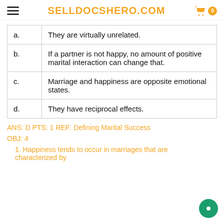SELLDOCSHERO.COM
| a. | They are virtually unrelated. |
| b. | If a partner is not happy, no amount of positive marital interaction can change that. |
| c. | Marriage and happiness are opposite emotional states. |
| d. | They have reciprocal effects. |
ANS: D PTS: 1 REF: Defining Marital Success
OBJ: 4
1. Happiness tends to occur in marriages that are characterized by